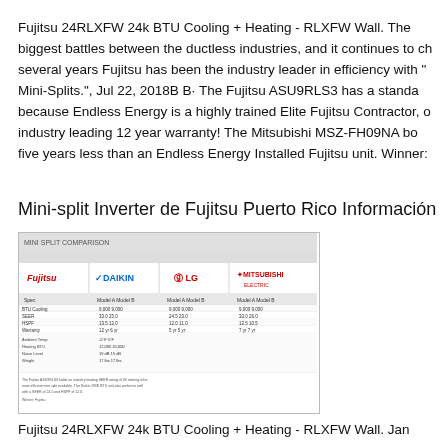Fujitsu 24RLXFW 24k BTU Cooling + Heating - RLXFW Wall. The biggest battles between the ductless industries, and it continues to ch several years Fujitsu has been the industry leader in efficiency with "Mini-Splits.", Jul 22, 2018B B· The Fujitsu ASU9RLS3 has a standa because Endless Energy is a highly trained Elite Fujitsu Contractor, industry leading 12 year warranty! The Mitsubishi MSZ-FH09NA b five years less than an Endless Energy Installed Fujitsu unit. Winner:
Mini-split Inverter de Fujitsu Puerto Rico Información
[Figure (screenshot): Mini Split Comparison chart showing logos for Fujitsu, Daikin, LG, and Mitsubishi with comparison data in tabular format]
Fujitsu 24RLXFW 24k BTU Cooling + Heating - RLXFW Wall. Jan